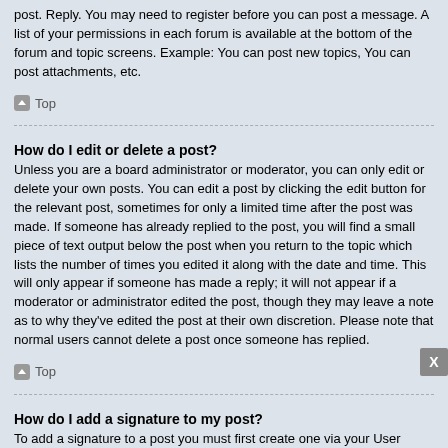post. Reply. You may need to register before you can post a message. A list of your permissions in each forum is available at the bottom of the forum and topic screens. Example: You can post new topics, You can post attachments, etc.
Top
How do I edit or delete a post?
Unless you are a board administrator or moderator, you can only edit or delete your own posts. You can edit a post by clicking the edit button for the relevant post, sometimes for only a limited time after the post was made. If someone has already replied to the post, you will find a small piece of text output below the post when you return to the topic which lists the number of times you edited it along with the date and time. This will only appear if someone has made a reply; it will not appear if a moderator or administrator edited the post, though they may leave a note as to why they've edited the post at their own discretion. Please note that normal users cannot delete a post once someone has replied.
Top
How do I add a signature to my post?
To add a signature to a post you must first create one via your User Control Panel. Once created, you can check the Attach a signature box on the posting form to add your signature. You can also add a signature by default to all your posts by checking the appropriate radio button in the User Control Panel. If yo